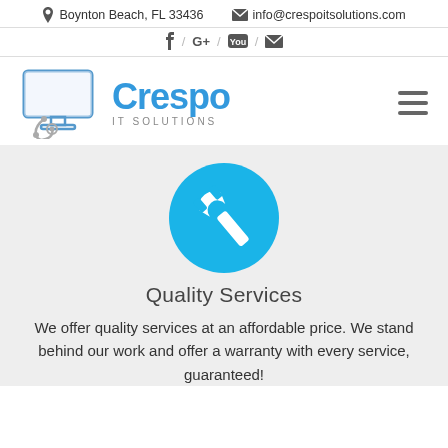Boynton Beach, FL 33436  info@crespoitsolutions.com
f / G+ / YouTube / mail
[Figure (logo): Crespo IT Solutions logo with a stylized computer monitor and stethoscope icon on the left, and the text 'Crespo IT SOLUTIONS' on the right in blue]
[Figure (illustration): Blue circle with white wrench/settings icon representing repair/service]
Quality Services
We offer quality services at an affordable price. We stand behind our work and offer a warranty with every service, guaranteed!